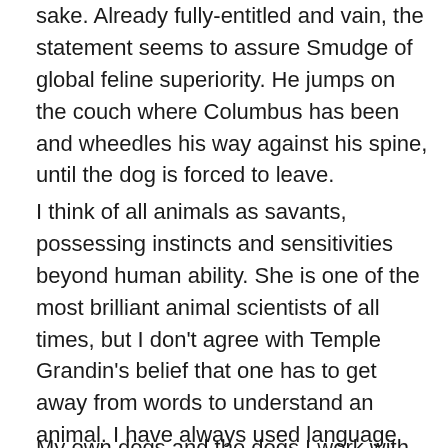sake. Already fully-entitled and vain, the statement seems to assure Smudge of global feline superiority. He jumps on the couch where Columbus has been and wheedles his way against his spine, until the dog is forced to leave.
I think of all animals as savants, possessing instincts and sensitivities beyond human ability. She is one of the most brilliant animal scientists of all times, but I don't agree with Temple Grandin's belief that one has to get away from words to understand an animal. I have always used language and speech as a connective device to the pets I have had; it is a particularly useful tool when working professionally with dogs. Their hearing is acute and their willingness to understand, immense.
My own dogs and the dogs I work with are so adept at...